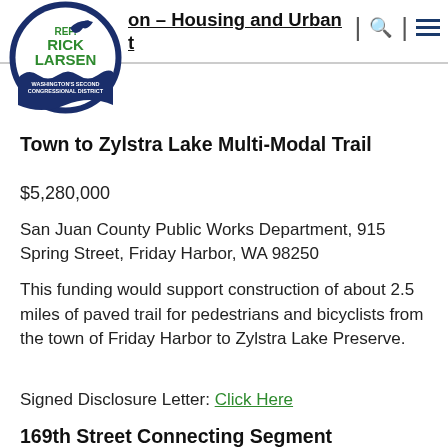[Figure (logo): Rep. Rick Larsen logo — circular badge with dark blue border, orca whale graphic, green 'REP. RICK LARSEN' text, and 'WASHINGTON'S SECOND CONGRESSIONAL DISTRICT' text]
on – Housing and Urban t
Town to Zylstra Lake Multi-Modal Trail
$5,280,000
San Juan County Public Works Department, 915 Spring Street, Friday Harbor, WA 98250
This funding would support construction of about 2.5 miles of paved trail for pedestrians and bicyclists from the town of Friday Harbor to Zylstra Lake Preserve.
Signed Disclosure Letter: Click Here
169th Street Connecting Segment